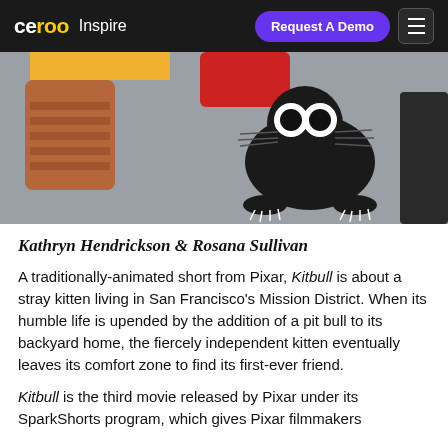ceroo Inspire | Request A Demo | Menu
[Figure (illustration): Animation still from Kitbull showing a black cartoon cat character on a gray background, with a brown shoe/slipper partially visible on the left and a red object at the top]
Kathryn Hendrickson & Rosana Sullivan
A traditionally-animated short from Pixar, Kitbull is about a stray kitten living in San Francisco's Mission District. When its humble life is upended by the addition of a pit bull to its backyard home, the fiercely independent kitten eventually leaves its comfort zone to find its first-ever friend.
Kitbull is the third movie released by Pixar under its SparkShorts program, which gives Pixar filmmakers